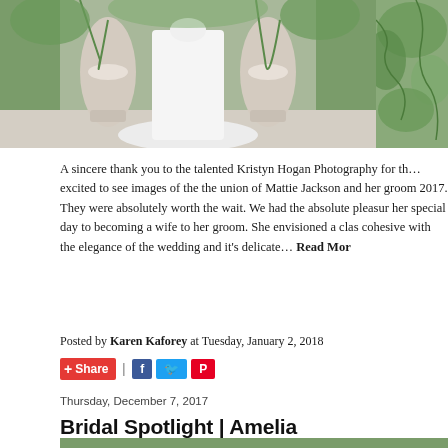[Figure (photo): Wedding photo showing bride in white dress between two large stone urns with greenery/ivy. Second partial photo on right side showing greenery.]
A sincere thank you to the talented Kristyn Hogan Photography for th... excited to see images of the the union of Mattie Jackson and her groom 2017. They were absolutely worth the wait. We had the absolute pleasur her special day to becoming a wife to her groom. She envisioned a clas cohesive with the elegance of the wedding and it's delicate… Read More
Posted by Karen Kaforey at Tuesday, January 2, 2018
Thursday, December 7, 2017
Bridal Spotlight | Amelia